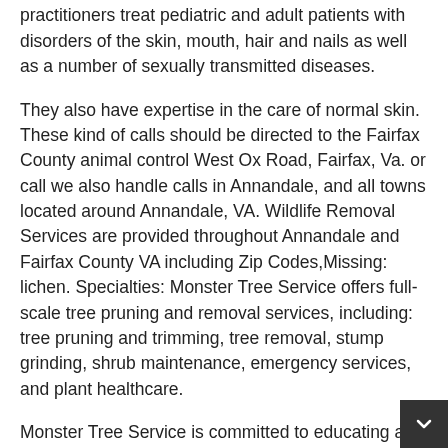certification by the Board of Dermatology, practitioners treat pediatric and adult patients with disorders of the skin, mouth, hair and nails as well as a number of sexually transmitted diseases.
They also have expertise in the care of normal skin. These kind of calls should be directed to the Fairfax County animal control West Ox Road, Fairfax, Va. or call we also handle calls in Annandale, and all towns located around Annandale, VA. Wildlife Removal Services are provided throughout Annandale and Fairfax County VA including Zip Codes,Missing: lichen. Specialties: Monster Tree Service offers full-scale tree pruning and removal services, including: tree pruning and trimming, tree removal, stump grinding, shrub maintenance, emergency services, and plant healthcare.
Monster Tree Service is committed to educating all customers travelers insurance tree removal, 1867 Reading MA the natural conditions, diseases and infestations that impact the health of their plants/trees and treating all 4 Yelp reviews.
Dec 14, Certain types of lichens and mosses -- such as Spanish moss -- can be manually removed from small trees and shrubs